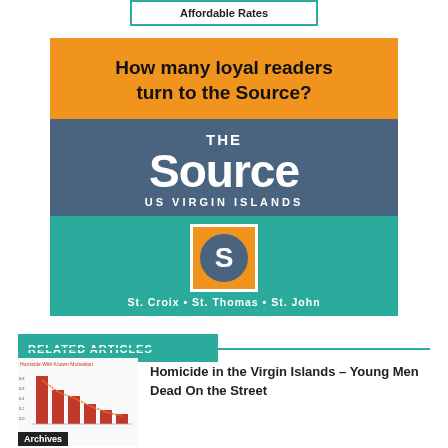Affordable Rates
[Figure (logo): The Source US Virgin Islands advertisement. Orange top section with text 'How many loyal readers turn to the Source?', blue midsection with 'THE Source US VIRGIN ISLANDS' logo, teal bottom section with The Source logo icon and 'St. Croix • St. Thomas • St. John']
RELATED ARTICLES
[Figure (bar-chart): Small bar chart thumbnail labeled 'Homicide With Known Motivation' showing declining red bars]
Homicide in the Virgin Islands – Young Men Dead On the Street
Archives